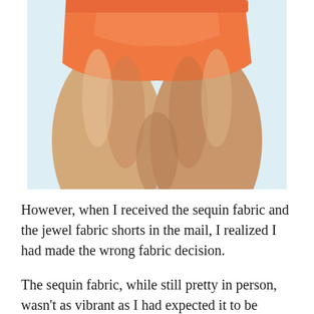[Figure (photo): Close-up photo of a person wearing orange/coral athletic shorts, showing the lower torso and upper thighs against a light blue-white background.]
However, when I received the sequin fabric and the jewel fabric shorts in the mail, I realized I had made the wrong fabric decision.
The sequin fabric, while still pretty in person, wasn't as vibrant as I had expected it to be (mainly because it